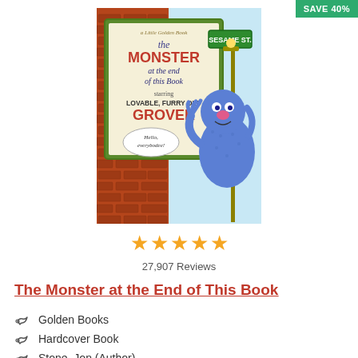SAVE 40%
[Figure (photo): Book cover of 'The Monster at the End of This Book' - a Little Golden Book featuring Grover from Sesame Street. The cover shows Grover (a blue furry monster) leaning against a lamp post next to a 'SESAME ST.' street sign. There is a speech bubble saying 'Hello, everybodee!' The title reads 'the MONSTER at the end of this Book starring LOVABLE, FURRY OLD GROVER'. Background is a brick wall.]
27,907 Reviews
The Monster at the End of This Book
Golden Books
Hardcover Book
Stone, Jon (Author)